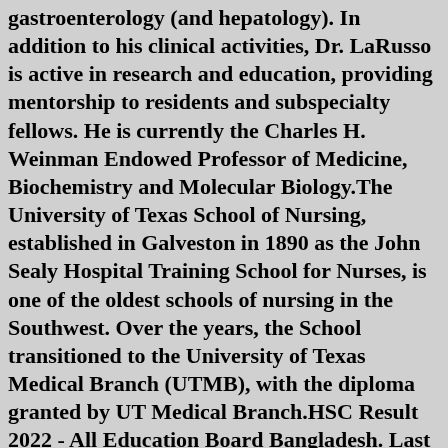gastroenterology (and hepatology). In addition to his clinical activities, Dr. LaRusso is active in research and education, providing mentorship to residents and subspecialty fellows. He is currently the Charles H. Weinman Endowed Professor of Medicine, Biochemistry and Molecular Biology.The University of Texas School of Nursing, established in Galveston in 1890 as the John Sealy Hospital Training School for Nurses, is one of the oldest schools of nursing in the Southwest. Over the years, the School transitioned to the University of Texas Medical Branch (UTMB), with the diploma granted by UT Medical Branch.HSC Result 2022 - All Education Board Bangladesh. Last Update : February 24, 2022 . Higher Secondary School Certificate HSC Exam result 2022 Bangladesh. HSC Result 2022 is available on the Ministry of Education approved website www.educationboardresults.gov.bd.SMSD. Stafford Municipal School District is the best little school district in Texas. A step ahead of the rest. We shine bright in the middle of Harris and Fort Bend counties